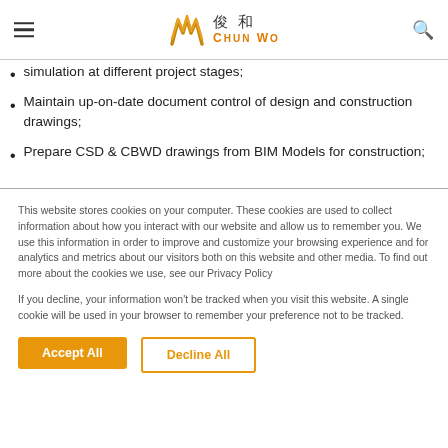Chun Wo 俊和
simulation at different project stages;
Maintain up-on-date document control of design and construction drawings;
Prepare CSD & CBWD drawings from BIM Models for construction;
This website stores cookies on your computer. These cookies are used to collect information about how you interact with our website and allow us to remember you. We use this information in order to improve and customize your browsing experience and for analytics and metrics about our visitors both on this website and other media. To find out more about the cookies we use, see our Privacy Policy
If you decline, your information won't be tracked when you visit this website. A single cookie will be used in your browser to remember your preference not to be tracked.